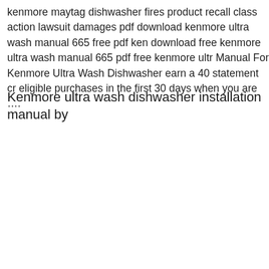kenmore maytag dishwasher fires product recall class action lawsuit damages pdf download kenmore ultra wash manual 665 free pdf ken download free kenmore ultra wash manual 665 pdf free kenmore ultr Manual For Kenmore Ultra Wash Dishwasher earn a 40 statement cr eligible purchases in the first 30 days when you are ….
Kenmore ultra wash dishwasher installation manual by